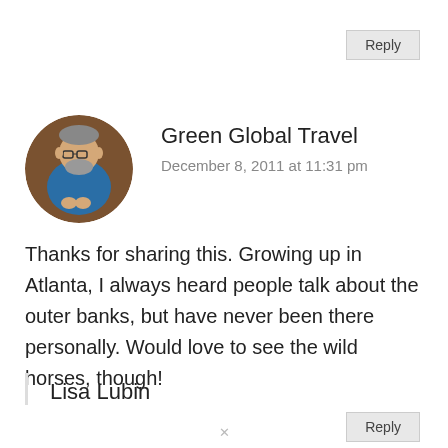Reply
Green Global Travel
December 8, 2011 at 11:31 pm
Thanks for sharing this. Growing up in Atlanta, I always heard people talk about the outer banks, but have never been there personally. Would love to see the wild horses, though!
Reply
Lisa Lubin